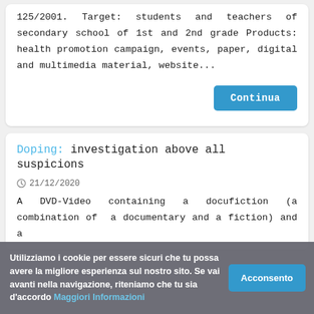125/2001. Target: students and teachers of secondary school of 1st and 2nd grade Products: health promotion campaign, events, paper, digital and multimedia material, website...
Continua
Doping: investigation above all suspicions
21/12/2020
A DVD-Video containing a docufiction (a combination of a documentary and a fiction) and a
Utilizziamo i cookie per essere sicuri che tu possa avere la migliore esperienza sul nostro sito. Se vai avanti nella navigazione, riteniamo che tu sia d'accordo Maggiori Informazioni